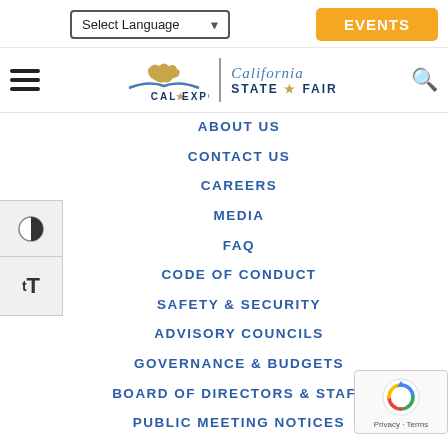[Figure (screenshot): Select Language dropdown and EVENTS orange button in top navigation bar]
[Figure (logo): Cal Expo and California State Fair logo with hamburger menu and search icon]
ABOUT US
CONTACT US
CAREERS
MEDIA
FAQ
CODE OF CONDUCT
SAFETY & SECURITY
ADVISORY COUNCILS
GOVERNANCE & BUDGETS
BOARD OF DIRECTORS & STAFF
PUBLIC MEETING NOTICES
NEWS & MEDIA
1600 Exposition Blvd
Sacramento, CA 95815